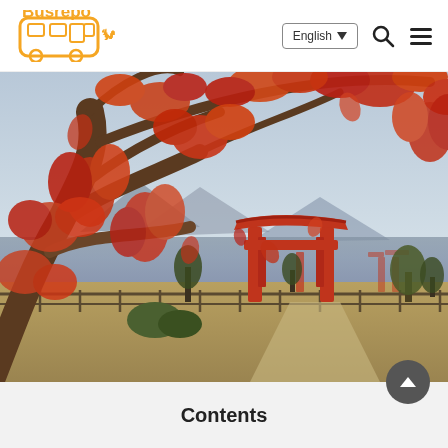Busrepo | English | Navigation
[Figure (photo): Japanese torii gate (likely Miyajima/Itsukushima) with vivid red autumn maple leaves in foreground, water and mountains in background, overcast sky]
Contents